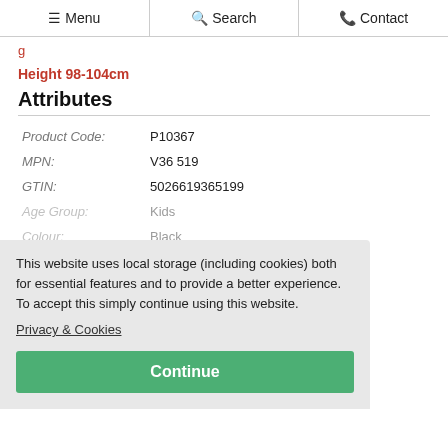☰ Menu | 🔍 Search | 📞 Contact
Height 98-104cm
Attributes
| Attribute | Value |
| --- | --- |
| Product Code: | P10367 |
| MPN: | V36 519 |
| GTIN: | 5026619365199 |
| Age Group: | Kids |
| Colour: | Black |
| Gender: | Male |
| Size: | 4-6 Years |
This website uses local storage (including cookies) both for essential features and to provide a better experience. To accept this simply continue using this website.
Privacy & Cookies
Continue